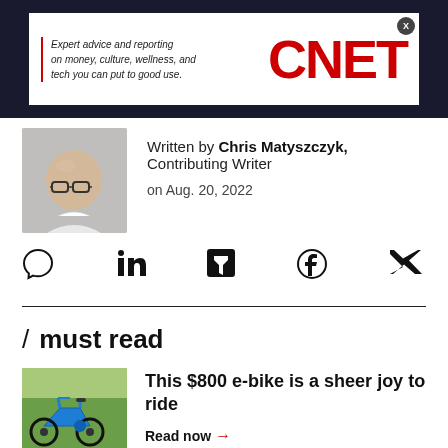[Figure (other): CNET advertisement banner with text: Expert advice and reporting on money, culture, wellness, and tech you can put to good use. CNET logo in red.]
[Figure (photo): Author headshot: bald man with glasses wearing a white shirt]
Written by Chris Matyszczyk, Contributing Writer on Aug. 20, 2022
[Figure (other): Social sharing icons: comment, LinkedIn, Flipboard, Facebook, Twitter]
/ must read
[Figure (photo): Blue folding e-bike on grass]
This $800 e-bike is a sheer joy to ride
Read now →